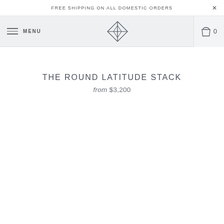FREE SHIPPING ON ALL DOMESTIC ORDERS ×
MENU [logo] 0
THE ROUND LATITUDE STACK
from $3,200